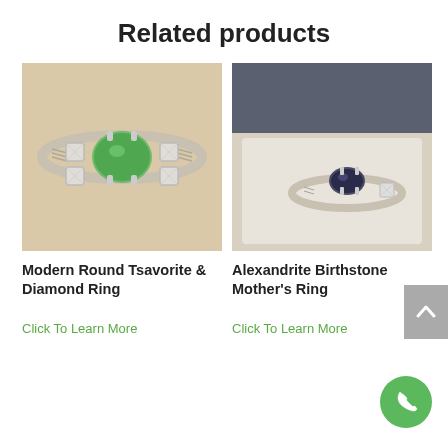Related products
[Figure (photo): Silver ring with green tsavorite center stone and diamond accents, photographed from above on a beige background]
[Figure (photo): Silver ring with dark alexandrite center stone and diamond accents, displayed in a dark jewelry box on white cushion]
Modern Round Tsavorite & Diamond Ring
Alexandrite Birthstone Mother's Ring
Click To Learn More
Click To Learn More